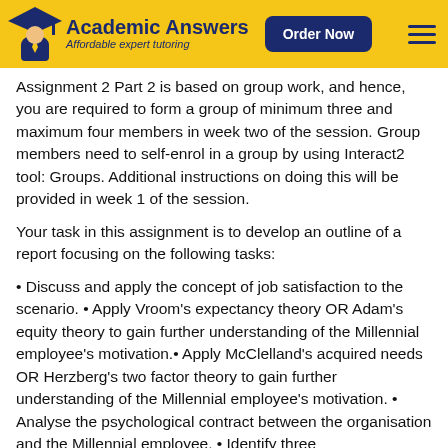Academic Answers — Affordable expert tutoring | Order Now
Assignment 2 Part 2 is based on group work, and hence, you are required to form a group of minimum three and maximum four members in week two of the session. Group members need to self-enrol in a group by using Interact2 tool: Groups. Additional instructions on doing this will be provided in week 1 of the session.
Your task in this assignment is to develop an outline of a report focusing on the following tasks:
Discuss and apply the concept of job satisfaction to the scenario.
Apply Vroom's expectancy theory OR Adam's equity theory to gain further understanding of the Millennial employee's motivation.
Apply McClelland's acquired needs OR Herzberg's two factor theory to gain further understanding of the Millennial employee's motivation.
Analyse the psychological contract between the organisation and the Millennial employee.
Identify three recommendations that can be applied to improve the motivation of the Millennial employee, with these recommendations being linked to the...